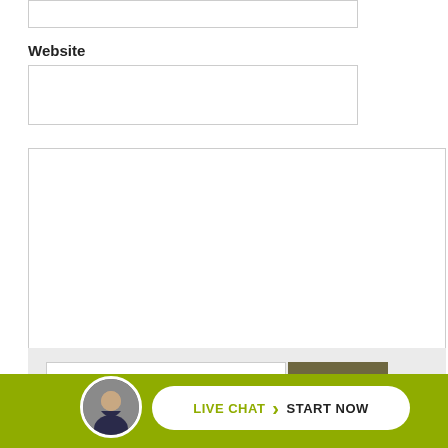Website
[Figure (screenshot): Web form with Website label, text input fields, a textarea for comment, a Submit comment button, a Search bar, and a Live Chat Start Now bar at the bottom with an avatar photo.]
Submit comment
Search
LIVE CHAT  ›  START NOW